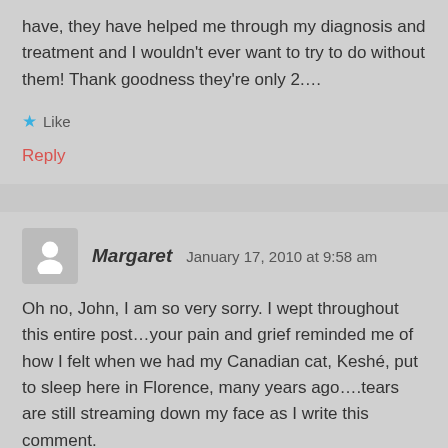have, they have helped me through my diagnosis and treatment and I wouldn't ever want to try to do without them! Thank goodness they're only 2….
★ Like
Reply
Margaret  January 17, 2010 at 9:58 am
Oh no, John, I am so very sorry. I wept throughout this entire post…your pain and grief reminded me of how I felt when we had my Canadian cat, Keshé, put to sleep here in Florence, many years ago….tears are still streaming down my face as I write this comment.
I know that you won't want to read what I am about